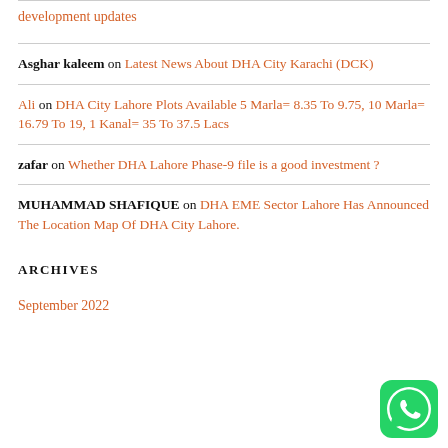development updates (link)
Asghar kaleem on Latest News About DHA City Karachi (DCK)
Ali on DHA City Lahore Plots Available 5 Marla= 8.35 To 9.75, 10 Marla= 16.79 To 19, 1 Kanal= 35 To 37.5 Lacs
zafar on Whether DHA Lahore Phase-9 file is a good investment ?
MUHAMMAD SHAFIQUE on DHA EME Sector Lahore Has Announced The Location Map Of DHA City Lahore.
ARCHIVES
September 2022
[Figure (logo): WhatsApp green circular logo button in bottom right corner]